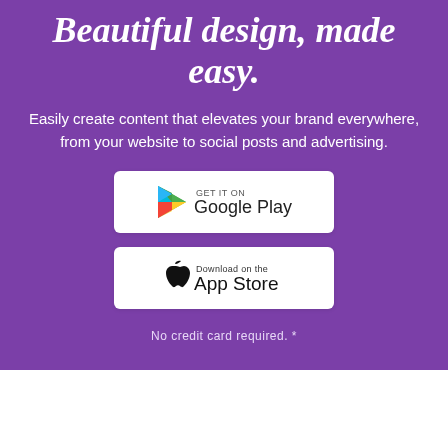Beautiful design, made easy.
Easily create content that elevates your brand everywhere, from your website to social posts and advertising.
[Figure (logo): Google Play store badge button with colorful triangle play icon on white background]
[Figure (logo): Apple App Store badge button with Apple logo on white background]
No credit card required. *